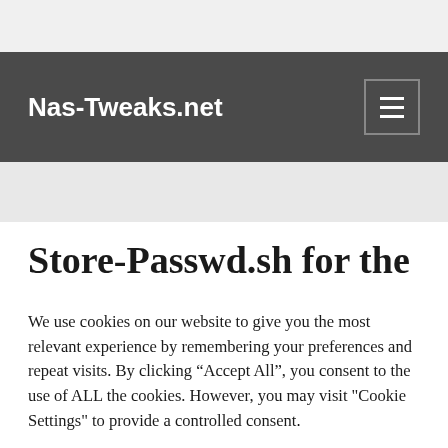Nas-Tweaks.net
Store-Passwd.sh for the
We use cookies on our website to give you the most relevant experience by remembering your preferences and repeat visits. By clicking “Accept All”, you consent to the use of ALL the cookies. However, you may visit "Cookie Settings" to provide a controlled consent.
Cookie Settings
Accept All